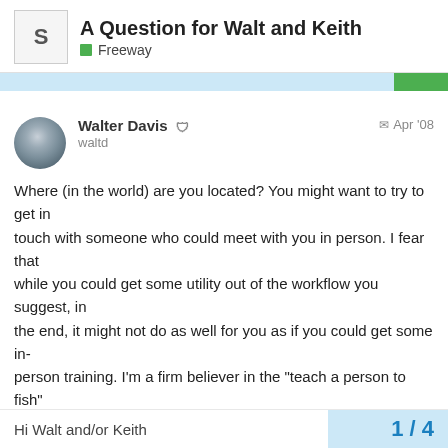A Question for Walt and Keith
Freeway
Walter Davis
waltd
Apr '08
Where (in the world) are you located? You might want to try to get in touch with someone who could meet with you in person. I fear that while you could get some utility out of the workflow you suggest, in the end, it might not do as well for you as if you could get some in-person training. I'm a firm believer in the “teach a person to fish” approach, rather than doling out herring...

Walter

On Apr 28, 2008, at 5:29 AM, rebeccafonseca wrote:
Hi Walt and/or Keith
1 / 4